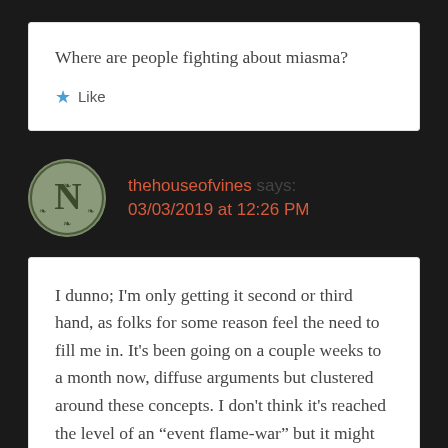Where are people fighting about miasma?
Like
thehouseofvines says: 03/03/2019 at 12:26 PM
I dunno; I'm only getting it second or third hand, as folks for some reason feel the need to fill me in. It's been going on a couple weeks to a month now, diffuse arguments but clustered around these concepts. I don't think it's reached the level of an “event flame-war” but it might with time. Check the usual suspects, Twitter